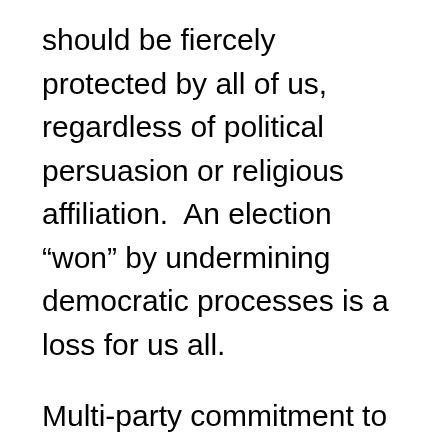should be fiercely protected by all of us, regardless of political persuasion or religious affiliation.  An election “won” by undermining democratic processes is a loss for us all.
Multi-party commitment to election integrity is a primary factor in preventing election violence across the globe. We call upon all elected leaders and elections officials at every level of government to recommit to our core democratic principles, to look within and consider what they themselves can do in this critical hour to uphold the best in our nation’s values.  Tactics to suppress the vote must end immediately, and all candidates and parties must publicly commit to